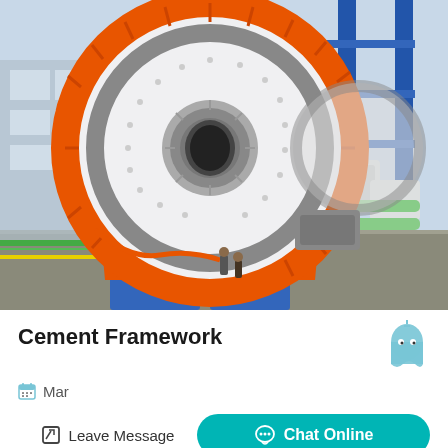[Figure (photo): Industrial photograph of a large cement ball mill machine with orange ring gear and white cylindrical drum, mounted on blue steel supports in a factory/manufacturing facility. Heavy industrial equipment with gear mechanisms visible.]
Cement Framework
Mar
Leave Message
Chat Online